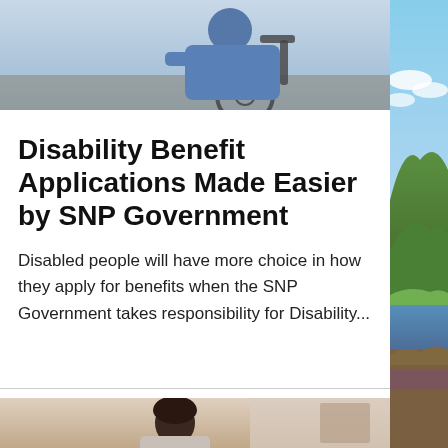[Figure (photo): Top strip photo showing a person in a blue top, appearing to be in a wheelchair, with blue/grey background]
Disability Benefit Applications Made Easier by SNP Government
Disabled people will have more choice in how they apply for benefits when the SNP Government takes responsibility for Disability...
[Figure (photo): Bottom strip photo showing a person with dark hair, partially visible, indoor setting]
[Figure (photo): Right sidebar photo showing a Scottish landscape with hills, water, and sky]